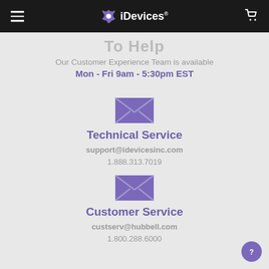iDevices
Our Customer Experience Team is available
Mon - Fri 9am - 5:30pm EST
[Figure (illustration): Purple envelope/mail icon for Technical Service]
Technical Service
support@idevicesinc.com
1.888.313.7019
[Figure (illustration): Purple envelope/mail icon for Customer Service]
Customer Service
custserv@hubbell.com
1.800.288.6000